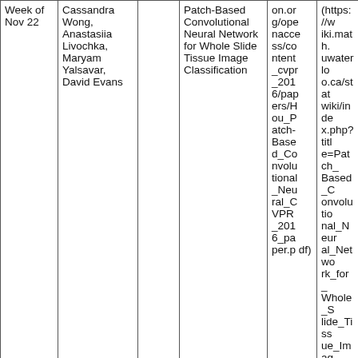| Week of Nov 22 | Cassandra Wong, Anastasiia Livochka, Maryam Yalsavar, David Evans |  | Patch-Based Convolutional Neural Network for Whole Slide Tissue Image Classification | on.org/openaccess/content_cvpr_2016/papers/Hou_Patch-Based_Convolutional_Neural_C VPR_2016_paper.pdf) | (https://wiki.math.uwaterloo.ca/statwiki/index.php?title=Patch_Based_Convolutional_Neural_Network_for_Whole_Slide_Tissue_Image_Classification) |
|  |  |  |  | Paper (http |  |